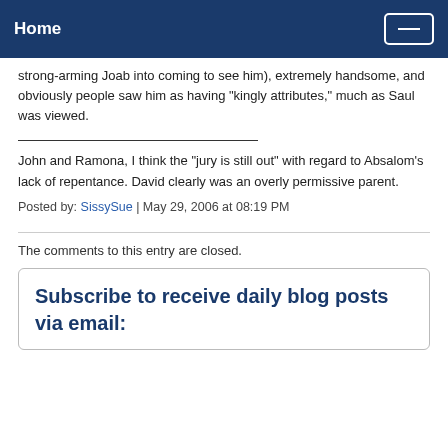Home
strong-arming Joab into coming to see him), extremely handsome, and obviously people saw him as having "kingly attributes," much as Saul was viewed.
John and Ramona, I think the "jury is still out" with regard to Absalom's lack of repentance. David clearly was an overly permissive parent.
Posted by: SissySue | May 29, 2006 at 08:19 PM
The comments to this entry are closed.
Subscribe to receive daily blog posts via email: